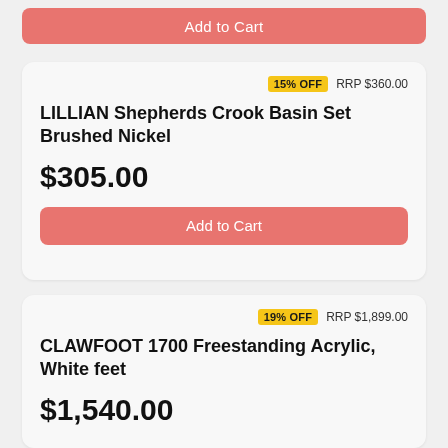Add to Cart
15% OFF  RRP $360.00
LILLIAN Shepherds Crook Basin Set Brushed Nickel
$305.00
Add to Cart
19% OFF  RRP $1,899.00
CLAWFOOT 1700 Freestanding Acrylic, White feet
$1,540.00